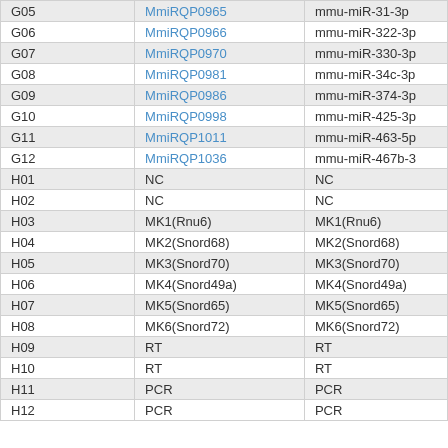|  |  |  |
| --- | --- | --- |
| G05 | MmiRQP0965 | mmu-miR-31-3p |
| G06 | MmiRQP0966 | mmu-miR-322-3p |
| G07 | MmiRQP0970 | mmu-miR-330-3p |
| G08 | MmiRQP0981 | mmu-miR-34c-3p |
| G09 | MmiRQP0986 | mmu-miR-374-3p |
| G10 | MmiRQP0998 | mmu-miR-425-3p |
| G11 | MmiRQP1011 | mmu-miR-463-5p |
| G12 | MmiRQP1036 | mmu-miR-467b-3p |
| H01 | NC | NC |
| H02 | NC | NC |
| H03 | MK1(Rnu6) | MK1(Rnu6) |
| H04 | MK2(Snord68) | MK2(Snord68) |
| H05 | MK3(Snord70) | MK3(Snord70) |
| H06 | MK4(Snord49a) | MK4(Snord49a) |
| H07 | MK5(Snord65) | MK5(Snord65) |
| H08 | MK6(Snord72) | MK6(Snord72) |
| H09 | RT | RT |
| H10 | RT | RT |
| H11 | PCR | PCR |
| H12 | PCR | PCR |